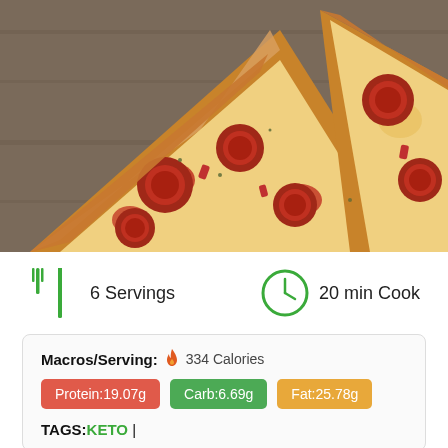[Figure (photo): Slices of pepperoni pizza on a wooden surface with white paper, showing melted cheese and pepperoni toppings]
6 Servings
20 min Cook
Macros/Serving: 334 Calories
Protein:19.07g
Carb:6.69g
Fat:25.78g
TAGS: KETO |